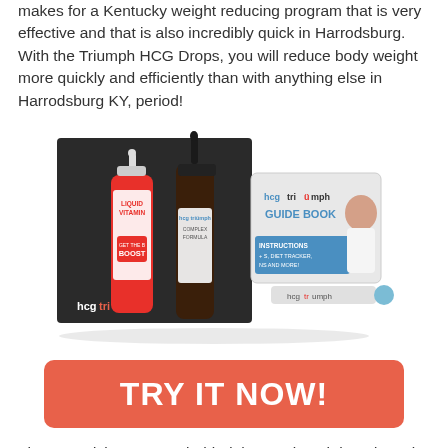makes for a Kentucky weight reducing program that is very effective and that is also incredibly quick in Harrodsburg. With the Triumph HCG Drops, you will reduce body weight more quickly and efficiently than with anything else in Harrodsburg KY, period!
[Figure (photo): HCG Triumph product kit showing a black box, two dropper bottles (Liquid Vitamins B Boost and HCG Triumph Complex Formula), a Guide Book, and an applicator tool.]
TRY IT NOW!
The Harrodsburg secret behind these Triumph hcg drops is in